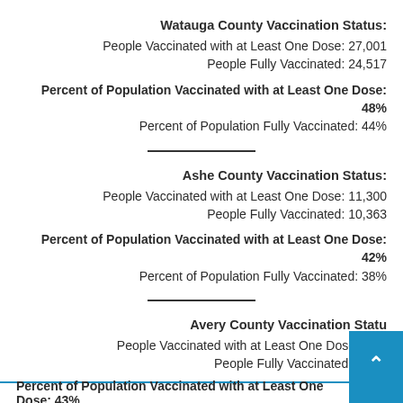Watauga County Vaccination Status:
People Vaccinated with at Least One Dose: 27,001
People Fully Vaccinated: 24,517
Percent of Population Vaccinated with at Least One Dose: 48%
Percent of Population Fully Vaccinated: 44%
Ashe County Vaccination Status:
People Vaccinated with at Least One Dose: 11,300
People Fully Vaccinated: 10,363
Percent of Population Vaccinated with at Least One Dose: 42%
Percent of Population Fully Vaccinated: 38%
Avery County Vaccination Status:
People Vaccinated with at Least One Dose: 7,53
People Fully Vaccinated: 6,896
Percent of Population Vaccinated with at Least One Dose: 43%